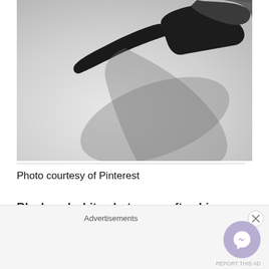[Figure (photo): Black and white close-up photo of a hand holding a gun, blurred background]
Photo courtesy of Pinterest
Black and white photos are often big because they
Advertisements
[Figure (illustration): Messenger chat button (purple circle with messenger icon) and close button overlay]